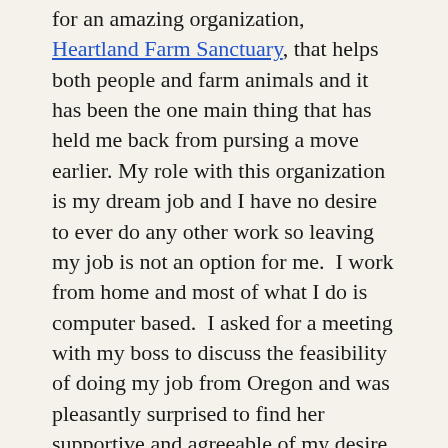for an amazing organization, Heartland Farm Sanctuary, that helps both people and farm animals and it has been the one main thing that has held me back from pursing a move earlier. My role with this organization is my dream job and I have no desire to ever do any other work so leaving my job is not an option for me.  I work from home and most of what I do is computer based.  I asked for a meeting with my boss to discuss the feasibility of doing my job from Oregon and was pleasantly surprised to find her supportive and agreeable of my desire to move west.   That was it, I was moving to Oregon!
Having just signed another year lease of my apartment in Madison, being without my own vehicle and $0 in my savings account it was clear that I couldn't just up and go.  So the plan is to stay in Madison until my lease expires in September 2014.  While here, my mission is to save up the